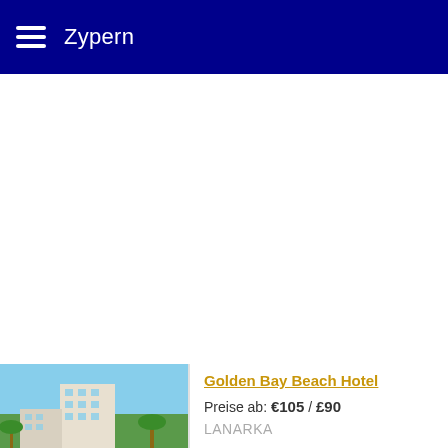Zypern
[Figure (photo): Aerial view of Golden Bay Beach Hotel with pool and surrounding greenery in Larnaka, Cyprus]
Golden Bay Beach Hotel
Preise ab: €105 / £90
LANARKA
ANGEBOTE